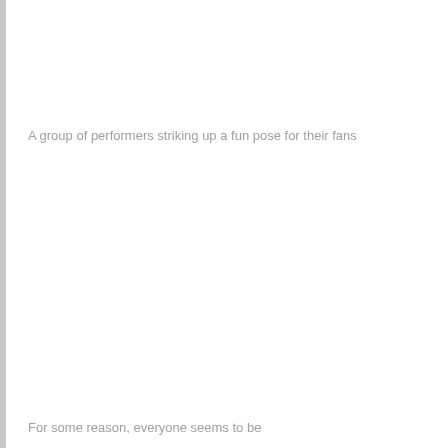A group of performers striking up a fun pose for their fans
For some reason, everyone seems to be